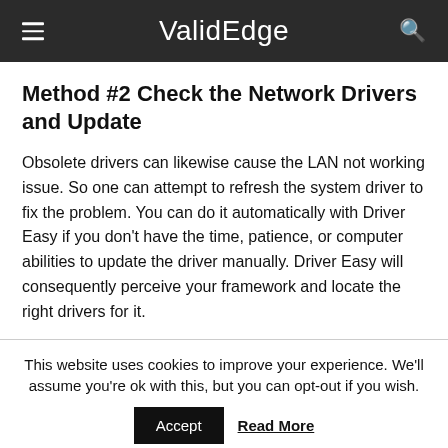ValidEdge
Method #2 Check the Network Drivers and Update
Obsolete drivers can likewise cause the LAN not working issue. So one can attempt to refresh the system driver to fix the problem. You can do it automatically with Driver Easy if you don't have the time, patience, or computer abilities to update the driver manually. Driver Easy will consequently perceive your framework and locate the right drivers for it.
This website uses cookies to improve your experience. We'll assume you're ok with this, but you can opt-out if you wish.